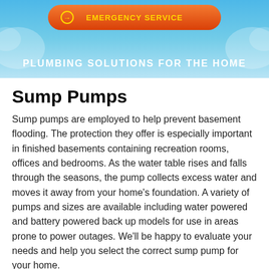[Figure (other): Website header banner with water/splash background, orange emergency service button with circular arrow icon, and white bold text 'PLUMBING SOLUTIONS FOR THE HOME']
Sump Pumps
Sump pumps are employed to help prevent basement flooding. The protection they offer is especially important in finished basements containing recreation rooms, offices and bedrooms. As the water table rises and falls through the seasons, the pump collects excess water and moves it away from your home's foundation. A variety of pumps and sizes are available including water powered and battery powered back up models for use in areas prone to power outages. We'll be happy to evaluate your needs and help you select the correct sump pump for your home.
Built-in Sump Di...